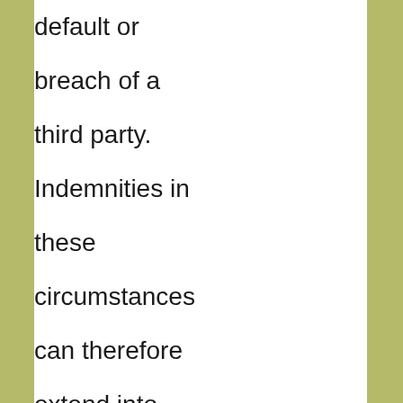default or breach of a third party. Indemnities in these circumstances can therefore extend into unintended onerous obligations which the common law would not otherwise impose. An indemnity clause is a